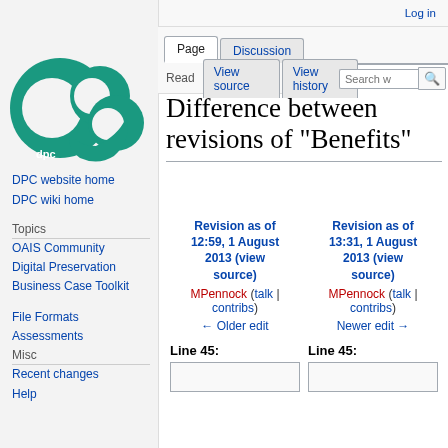Log in
[Figure (logo): DPC (Digital Preservation Coalition) logo — green circular shapes forming letters dpc]
DPC website home
DPC wiki home
Topics
OAIS Community
Digital Preservation Business Case Toolkit
File Formats Assessments
Misc
Recent changes
Help
Difference between revisions of "Benefits"
| Revision as of 12:59, 1 August 2013 (view source) | Revision as of 13:31, 1 August 2013 (view source) |
| --- | --- |
| MPennock (talk | contribs) | MPennock (talk | contribs) |
| ← Older edit | Newer edit → |
| Line 45: | Line 45: |